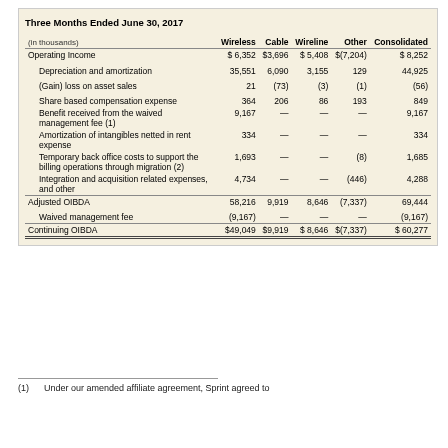Three Months Ended June 30, 2017
| (in thousands) | Wireless | Cable | Wireline | Other | Consolidated |
| --- | --- | --- | --- | --- | --- |
| Operating Income | $ 6,352 | $3,696 | $ 5,408 | $(7,204) | $ 8,252 |
| Depreciation and amortization | 35,551 | 6,090 | 3,155 | 129 | 44,925 |
| (Gain) loss on asset sales | 21 | (73) | (3) | (1) | (56) |
| Share based compensation expense | 364 | 206 | 86 | 193 | 849 |
| Benefit received from the waived management fee (1) | 9,167 | — | — | — | 9,167 |
| Amortization of intangibles netted in rent expense | 334 | — | — | — | 334 |
| Temporary back office costs to support the billing operations through migration (2) | 1,693 | — | — | (8) | 1,685 |
| Integration and acquisition related expenses, and other | 4,734 | — | — | (446) | 4,288 |
| Adjusted OIBDA | 58,216 | 9,919 | 8,646 | (7,337) | 69,444 |
| Waived management fee | (9,167) | — | — | — | (9,167) |
| Continuing OIBDA | $49,049 | $9,919 | $ 8,646 | $(7,337) | $ 60,277 |
(1) Under our amended affiliate agreement, Sprint agreed to